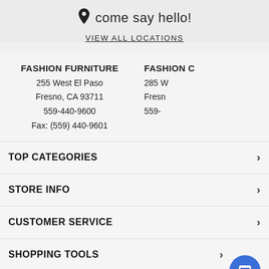come say hello!
VIEW ALL LOCATIONS
FASHION FURNITURE
255 West El Paso
Fresno, CA 93711
559-440-9600
Fax: (559) 440-9601
FASHION C
285 W
Fresn
559-
TOP CATEGORIES
STORE INFO
CUSTOMER SERVICE
SHOPPING TOOLS
don't miss out on deals & new releases